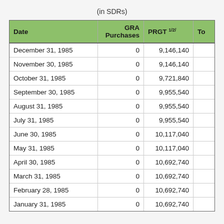(in SDRs)
| Date | GRA Purchases | PRGT 1/2/ | To |
| --- | --- | --- | --- |
| December 31, 1985 | 0 | 9,146,140 |  |
| November 30, 1985 | 0 | 9,146,140 |  |
| October 31, 1985 | 0 | 9,721,840 |  |
| September 30, 1985 | 0 | 9,955,540 |  |
| August 31, 1985 | 0 | 9,955,540 |  |
| July 31, 1985 | 0 | 9,955,540 |  |
| June 30, 1985 | 0 | 10,117,040 |  |
| May 31, 1985 | 0 | 10,117,040 |  |
| April 30, 1985 | 0 | 10,692,740 |  |
| March 31, 1985 | 0 | 10,692,740 |  |
| February 28, 1985 | 0 | 10,692,740 |  |
| January 31, 1985 | 0 | 10,692,740 |  |